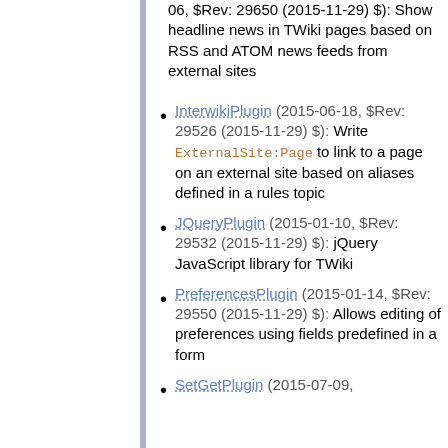06, $Rev: 29650 (2015-11-29) $): Show headline news in TWiki pages based on RSS and ATOM news feeds from external sites
InterwikiPlugin (2015-06-18, $Rev: 29526 (2015-11-29) $): Write ExternalSite:Page to link to a page on an external site based on aliases defined in a rules topic
JQueryPlugin (2015-01-10, $Rev: 29532 (2015-11-29) $): jQuery JavaScript library for TWiki
PreferencesPlugin (2015-01-14, $Rev: 29550 (2015-11-29) $): Allows editing of preferences using fields predefined in a form
SetGetPlugin (2015-07-09,